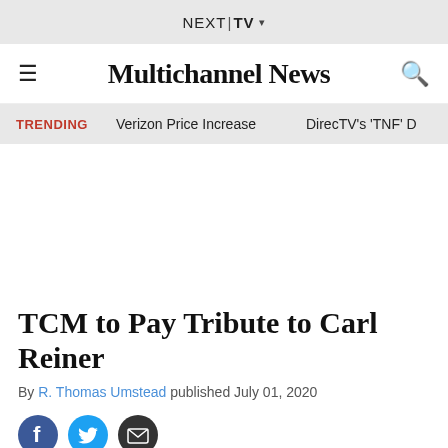NEXT|TV ▾
Multichannel News
TRENDING   Verizon Price Increase   DirecTV's 'TNF' D
TCM to Pay Tribute to Carl Reiner
By R. Thomas Umstead published July 01, 2020
[Figure (other): Social sharing icons: Facebook, Twitter, Email]